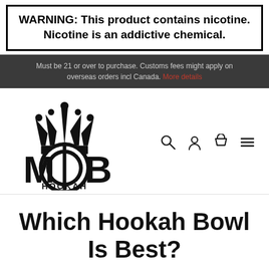WARNING: This product contains nicotine. Nicotine is an addictive chemical.
Must be 21 or over to purchase. Customs fees might apply on overseas orders incl Canada.
[Figure (logo): MOB Hookah logo with crown above stylized MOB letters]
Which Hookah Bowl Is Best?